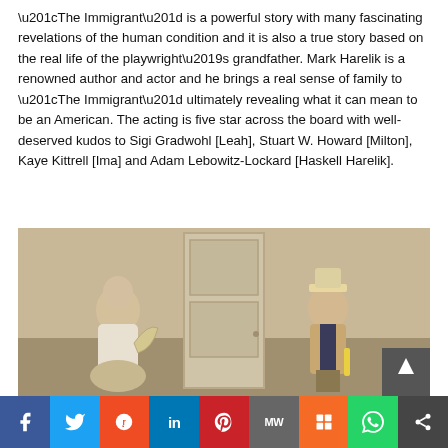“The Immigrant” is a powerful story with many fascinating revelations of the human condition and it is also a true story based on the real life of the playwright’s grandfather. Mark Harelik is a renowned author and actor and he brings a real sense of family to “The Immigrant” ultimately revealing what it can mean to be an American. The acting is five star across the board with well-deserved kudos to Sigi Gradwohl [Leah], Stuart W. Howard [Milton], Kaye Kittrell [Ima] and Adam Lebowitz-Lockard [Haskell Harelik].
[Figure (photo): Two actors on stage from a theater production. On the left, an older woman in period costume holding a fan. On the right, an older man in a suit and straw hat holding a yellow object. A white door is visible in the background center.]